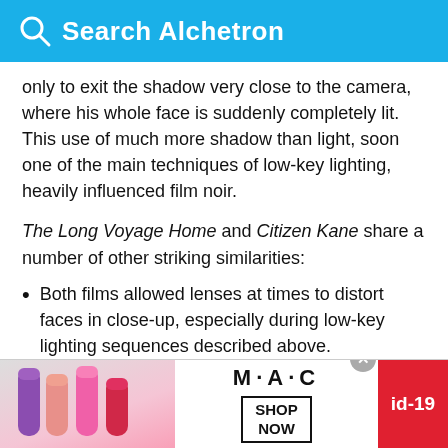Search Alchetron
only to exit the shadow very close to the camera, where his whole face is suddenly completely lit. This use of much more shadow than light, soon one of the main techniques of low-key lighting, heavily influenced film noir.
The Long Voyage Home and Citizen Kane share a number of other striking similarities:
Both films allowed lenses at times to distort faces in close-up, especially during low-key lighting sequences described above.
Sets, both interiors and exteriors, were lit mostly from above
[Figure (advertisement): M·A·C cosmetics advertisement showing lipsticks with SHOP NOW text and id-19 badge]